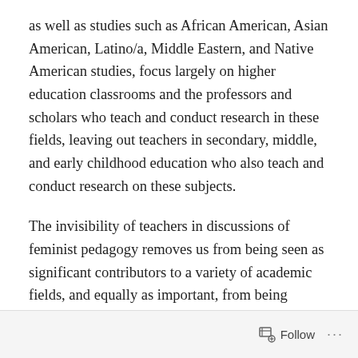as well as studies such as African American, Asian American, Latino/a, Middle Eastern, and Native American studies, focus largely on higher education classrooms and the professors and scholars who teach and conduct research in these fields, leaving out teachers in secondary, middle, and early childhood education who also teach and conduct research on these subjects.
The invisibility of teachers in discussions of feminist pedagogy removes us from being seen as significant contributors to a variety of academic fields, and equally as important, from being recognized as providing young people and children with curricular experiences that are rich and meaningful.
Follow ···